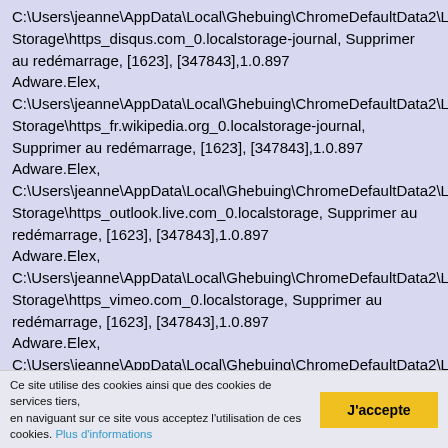C:\Users\jeanne\AppData\Local\Ghebuing\ChromeDefaultData2\LocalStorage\https_disqus.com_0.localstorage-journal, Supprimer au redémarrage, [1623], [347843],1.0.897
Adware.Elex, C:\Users\jeanne\AppData\Local\Ghebuing\ChromeDefaultData2\LocalStorage\https_fr.wikipedia.org_0.localstorage-journal, Supprimer au redémarrage, [1623], [347843],1.0.897
Adware.Elex, C:\Users\jeanne\AppData\Local\Ghebuing\ChromeDefaultData2\LocalStorage\https_outlook.live.com_0.localstorage, Supprimer au redémarrage, [1623], [347843],1.0.897
Adware.Elex, C:\Users\jeanne\AppData\Local\Ghebuing\ChromeDefaultData2\LocalStorage\https_vimeo.com_0.localstorage, Supprimer au redémarrage, [1623], [347843],1.0.897
Adware.Elex, C:\Users\jeanne\AppData\Local\Ghebuing\ChromeDefaultData2\LocalStorage\https_www.google.com_0.localstorage, Supprimer au redémarrage, [1623], [347843],1.0.897
Ce site utilise des cookies ainsi que des cookies de services tiers, en naviguant sur ce site vous acceptez l'utilisation de ces cookies. Plus d'informations